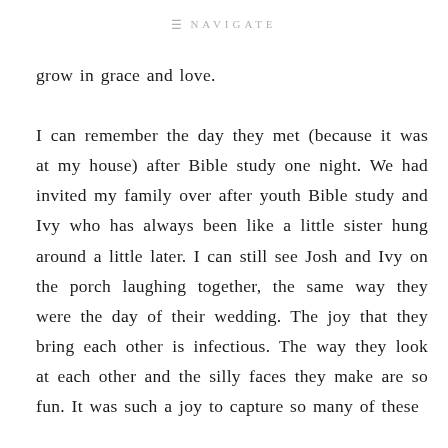≡ NAVIGATE
grow in grace and love.

I can remember the day they met (because it was at my house) after Bible study one night. We had invited my family over after youth Bible study and Ivy who has always been like a little sister hung around a little later. I can still see Josh and Ivy on the porch laughing together, the same way they were the day of their wedding. The joy that they bring each other is infectious. The way they look at each other and the silly faces they make are so fun. It was such a joy to capture so many of these